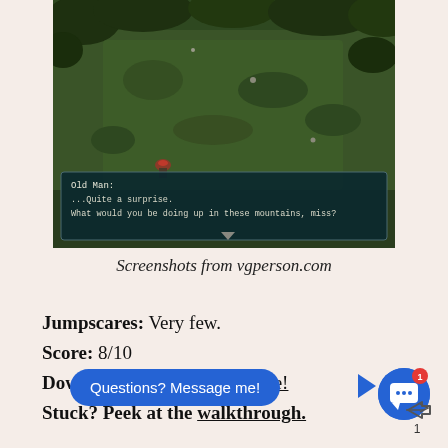[Figure (screenshot): Video game screenshot showing a top-down RPG scene with a green outdoor area. A dialog box at the bottom reads: 'Old Man: ...Quite a surprise. What would you be doing up in these mountains, miss?']
Screenshots from vgperson.com
Jumpscares: Very few.
Score: 8/10
Download Mogeko Castle here!
Stuck? Peek at the walkthrough.
[Figure (screenshot): UI overlay showing a blue chat bubble with 'Questions? Message me!' text, a blue circular avatar with chat icon and red notification badge showing 1, and a share icon with page number 1.]